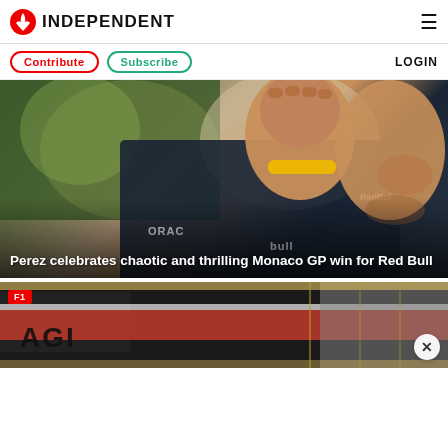INDEPENDENT
Contribute | Subscribe | LOGIN
[Figure (photo): Sergio Perez celebrating with fist raised, wearing Red Bull Racing suit with yellow wristband, blurred green and light background]
Perez celebrates chaotic and thrilling Monaco GP win for Red Bull
[Figure (photo): F1 racing car close-up with red and black bodywork, partial text visible, fence in background, F1 badge in top-left corner, close button in bottom-right]